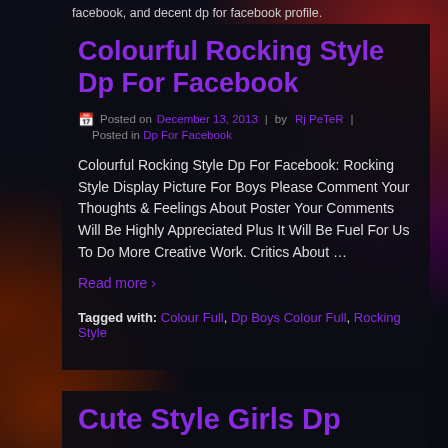facebook, and decent dp for facebook profile.
Colourful Rocking Style Dp For Facebook
Posted on December 13, 2013 | by Rj PeTeR | Posted in Dp For Facebook
Colourful Rocking Style Dp For Facebook: Rocking Style Display Picture For Boys Please Comment Your Thoughts & Feelings About Poster Your Comments Will Be Highly Appreciated Plus It Will Be Fuel For Us To Do More Creative Work. Critics About …
Read more ›
Tagged with: Colour Full, Dp Boys Colour Full, Rocking Style
Cute Style Girls Dp